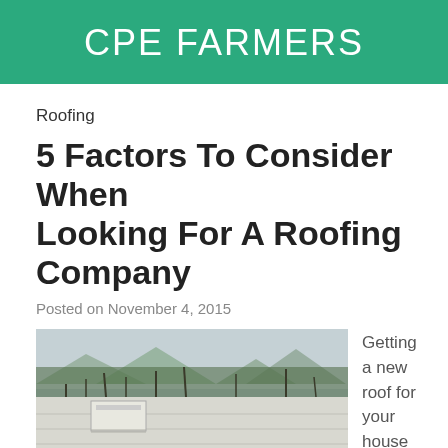CPE FARMERS
Roofing
5 Factors To Consider When Looking For A Roofing Company
Posted on November 4, 2015
[Figure (photo): Outdoor photo showing a flat rooftop in the foreground with bare winter trees and a cloudy sky in the background.]
Getting a new roof for your house is